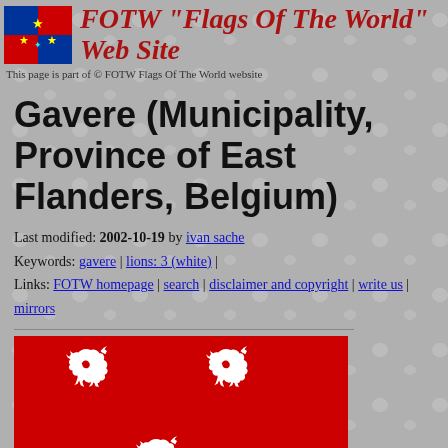FOTW "Flags Of The World" Web Site
This page is part of © FOTW Flags Of The World website
Gavere (Municipality, Province of East Flanders, Belgium)
Last modified: 2002-10-19 by ivan sache
Keywords: gavere | lions: 3 (white) |
Links: FOTW homepage | search | disclaimer and copyright | write us | mirrors
[Figure (illustration): Flag of Gavere municipality: red background with three white heraldic lions arranged in a triangular pattern (two on top, one centered below)]